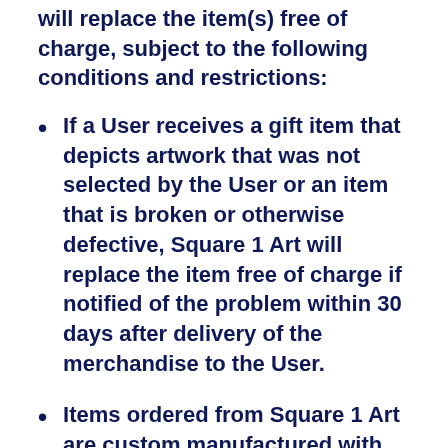will replace the item(s) free of charge, subject to the following conditions and restrictions:
If a User receives a gift item that depicts artwork that was not selected by the User or an item that is broken or otherwise defective, Square 1 Art will replace the item free of charge if notified of the problem within 30 days after delivery of the merchandise to the User.
Items ordered from Square 1 Art are custom manufactured with the utmost care to achieve the best